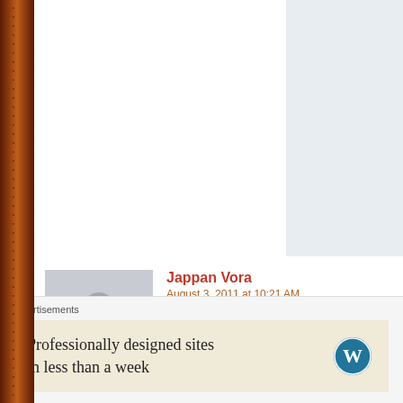[Figure (other): Partial advertisement banner at top right showing italic text 'the go.' and a blue 'GET THE APP' button on a light blue/grey background]
Jappan Vora
August 3, 2011 at 10:21 AM
Hello jay bhai!!
tamaro blog bau j mast 6e..
Gujrati ma lakhvani taklif vishe tame kidhu ena parthi man

Microsoft Indic Language Input Tool
http://specials.msn.co.in/ilit/Gujarati.aspx

AA link par thi e install kari lo etle typing English man ane

Cheak it out..

And thank you once again for wonderful experience on
"PLANETJV" . . . .
Advertisements
[Figure (other): WordPress advertisement: 'Professionally designed sites in less than a week' with WordPress logo]